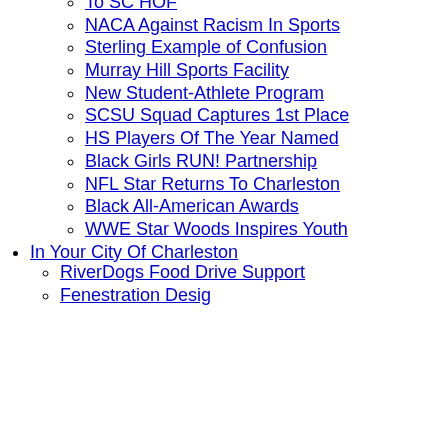To SC HOF (partial, top cut off)
NACA Against Racism In Sports
Sterling Example of Confusion
Murray Hill Sports Facility
New Student-Athlete Program
SCSU Squad Captures 1st Place
HS Players Of The Year Named
Black Girls RUN! Partnership
NFL Star Returns To Charleston
Black All-American Awards
WWE Star Woods Inspires Youth
In Your City Of Charleston
RiverDogs Food Drive Support
Fenestration Design (partial, bottom cut off)